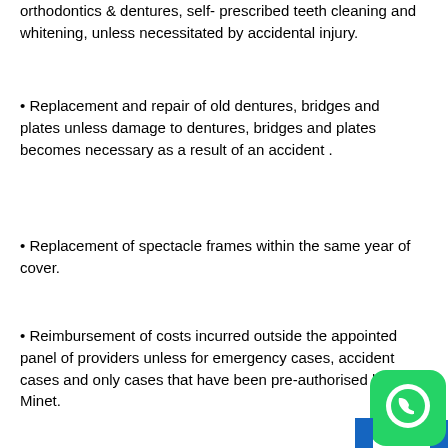orthodontics & dentures, self- prescribed teeth cleaning and whitening, unless necessitated by accidental injury.
Replacement and repair of old dentures, bridges and plates unless damage to dentures, bridges and plates becomes necessary as a result of an accident .
Replacement of spectacle frames within the same year of cover.
Reimbursement of costs incurred outside the appointed panel of providers unless for emergency cases, accident cases and only cases that have been pre-authorised by Minet.
[Figure (logo): WhatsApp logo icon — green circle with white phone/chat icon on dark green background]